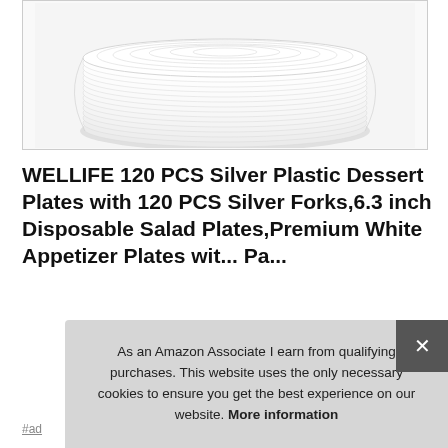[Figure (photo): Stack of white/silver plastic disposable plates viewed from above and slightly to the side, showing a large pile of translucent ribbed plates]
WELLIFE 120 PCS Silver Plastic Dessert Plates with 120 PCS Silver Forks,6.3 inch Disposable Salad Plates,Premium White Appetizer Plates wi... Pa...
As an Amazon Associate I earn from qualifying purchases. This website uses the only necessary cookies to ensure you get the best experience on our website. More information
#ad